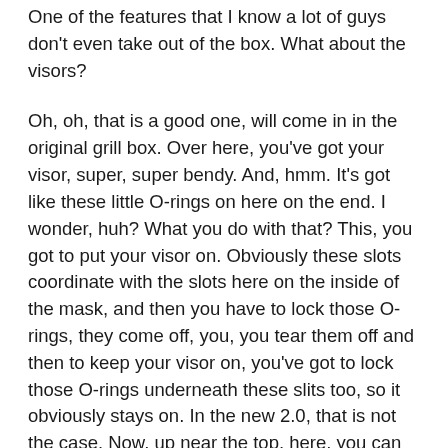One of the features that I know a lot of guys don't even take out of the box. What about the visors?
Oh, oh, that is a good one, will come in in the original grill box. Over here, you've got your visor, super, super bendy. And, hmm. It's got like these little O-rings on here on the end. I wonder, huh? What you do with that? This, you got to put your visor on. Obviously these slots coordinate with the slots here on the inside of the mask, and then you have to lock those O-rings, they come off, you, you tear them off and then to keep your visor on, you've got to lock those O-rings underneath these slits too, so it obviously stays on. In the new 2.0, that is not the case. Now, up near the top, here, you can see there's three holes. In the new visor, which is hard, it is nowhere near bendy as the original. So this is the original and that's one nowhere near that. It's definitely harder. It's got, they've extended it for rain or sunny conditions, stuff like that. Now they clip in. So now you have the